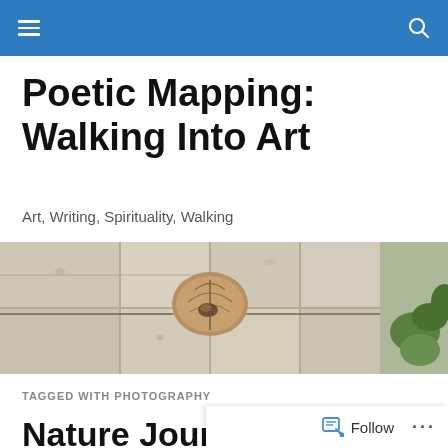Poetic Mapping: Walking Into Art — navigation bar
Poetic Mapping: Walking Into Art
Art, Writing, Spirituality, Walking
[Figure (photo): Close-up nature/art image showing what appears to be a dried seed pod or mushroom-like object mounted on a textured white surface with organic elements, with green foliage visible at the right edge.]
TAGGED WITH PHOTOGRAPHY
Nature Journal 2: Foxgloves